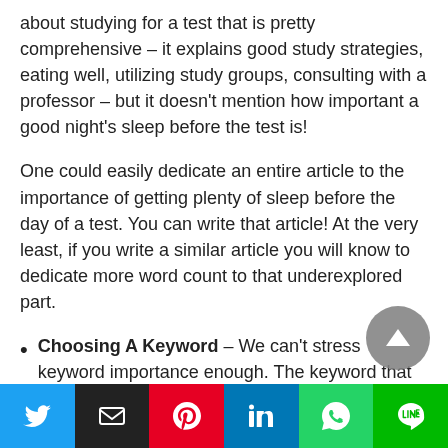about studying for a test that is pretty comprehensive – it explains good study strategies, eating well, utilizing study groups, consulting with a professor – but it doesn't mention how important a good night's sleep before the test is!
One could easily dedicate an entire article to the importance of getting plenty of sleep before the day of a test. You can write that article! At the very least, if you write a similar article you will know to dedicate more word count to that underexplored part.
Choosing A Keyword – We can't stress keyword importance enough. The keyword that you choose will inform the tone and direction of your blog post. Being smart about your keyword strategy will help your content stand out from